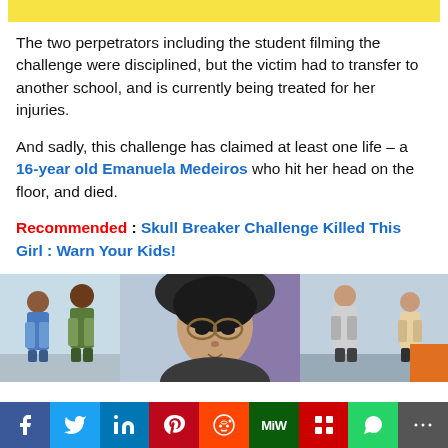[Figure (other): Yellow highlight bar at top of page]
The two perpetrators including the student filming the challenge were disciplined, but the victim had to transfer to another school, and is currently being treated for her injuries.
And sadly, this challenge has claimed at least one life – a 16-year old Emanuela Medeiros who hit her head on the floor, and died.
Recommended : Skull Breaker Challenge Killed This Girl : Warn Your Kids!
[Figure (photo): Three-panel photo strip showing people involved in the skull breaker challenge and a portrait of a girl wearing glasses and a hoodie]
f  Twitter  in  Pinterest  Reddit  MiW  Mix  WhatsApp  More